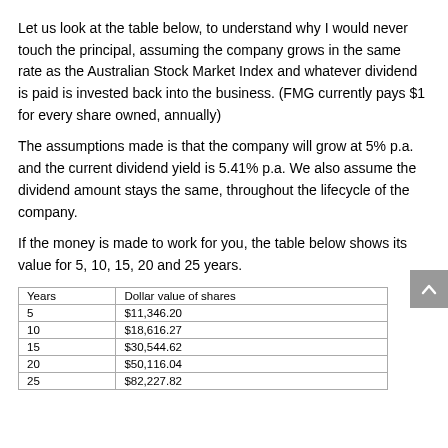Let us look at the table below, to understand why I would never touch the principal, assuming the company grows in the same rate as the Australian Stock Market Index and whatever dividend is paid is invested back into the business. (FMG currently pays $1 for every share owned, annually)
The assumptions made is that the company will grow at 5% p.a. and the current dividend yield is 5.41% p.a. We also assume the dividend amount stays the same, throughout the lifecycle of the company.
If the money is made to work for you, the table below shows its value for 5, 10, 15, 20 and 25 years.
| Years | Dollar value of shares |
| --- | --- |
| 5 | $11,346.20 |
| 10 | $18,616.27 |
| 15 | $30,544.62 |
| 20 | $50,116.04 |
| 25 | $82,227.82 |